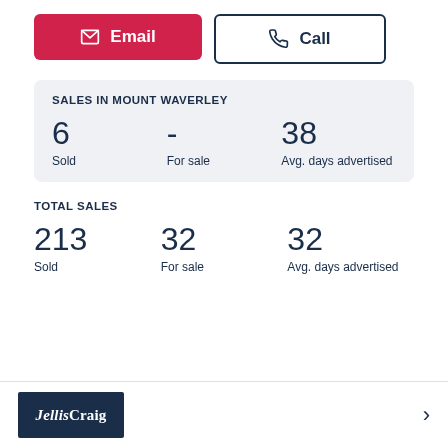Email
Call
SALES IN MOUNT WAVERLEY
6 Sold
- For sale
38 Avg. days advertised
TOTAL SALES
213 Sold
32 For sale
32 Avg. days advertised
[Figure (logo): Jellis Craig real estate agency logo — white text on dark navy background]